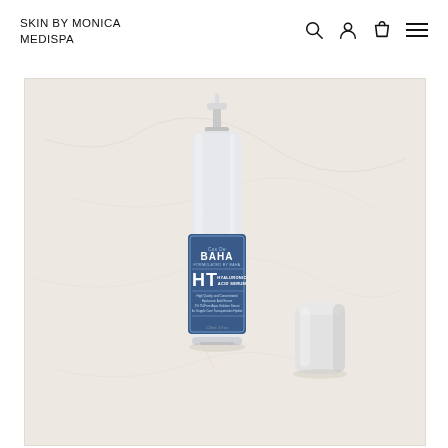SKIN BY MONICA MEDISPA
[Figure (photo): Product photo of Cos De BAHA HT Hyaluronic Acid Serum bottle with pump dispenser and cap, on a cream/marble textured background]